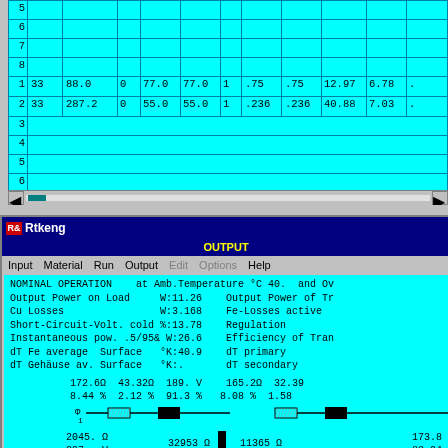[Figure (screenshot): Spreadsheet grid showing transformer winding data. Top section shows rows 5-8 empty. Bottom section shows rows 1-8 with data in rows 1-2: Row 1: 33, 88.0, 0, 77.0, 77.0, 1, .75, .75, 12.97, 6.78. Row 2: 33, 287.2, 0, 55.0, 55.0, 1, .236, .236, 40.88, 7.03.]
[Figure (screenshot): Rtkeng application window showing OUTPUT panel with transformer nominal operation data. Shows output power on load W:11.26, Cu Losses W:3.168, Short-Circuit-Volt. cold %:13.78, Instantaneous pow. .5/95& W:26.6, dT Fe average Surface °K:40.9, dT Gehäuse av. Surface °K:. Circuit diagram showing impedances: 172.6Ω, 43.32Ω, 189.V, 165.2Ω, 32.39, percentages 8.44%, 2.12%, 91.3%, 8.08%, 1.58. And values 2045.Ω, 207.V, 100%, 32953Ω, 1610.%, 11365Ω, 555.6%, 173.8, 83.94, mH 12.4, .101 A, .092 A.]